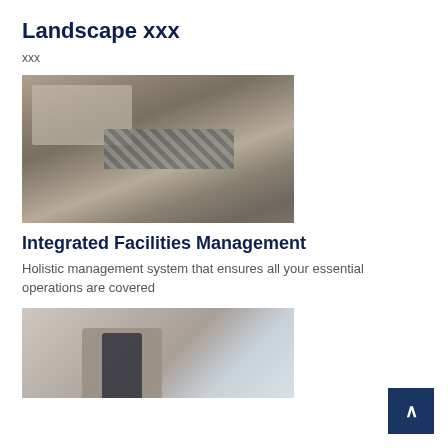Landscape xxx
xxx
[Figure (photo): Aerial view of a logistics facility with trucks, parking areas, and warehouse buildings]
Integrated Facilities Management
Holistic management system that ensures all your essential operations are covered
[Figure (photo): Person in white shirt holding a black tablet/device, with blurred city background]